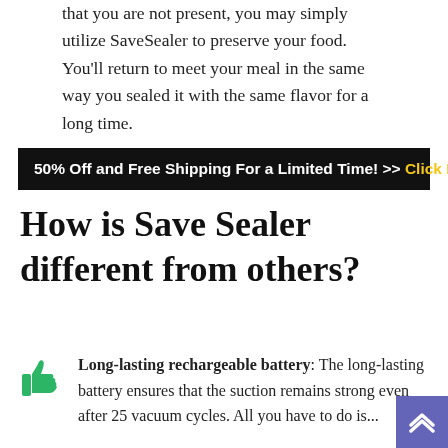that you are not present, you may simply utilize SaveSealer to preserve your food. You'll return to meet your meal in the same way you sealed it with the same flavor for a long time.
50% Off and Free Shipping For a Limited Time! >> Click Here
How is Save Sealer different from others?
Long-lasting rechargeable battery: The long-lasting battery ensures that the suction remains strong even after 25 vacuum cycles. All you have to do is...